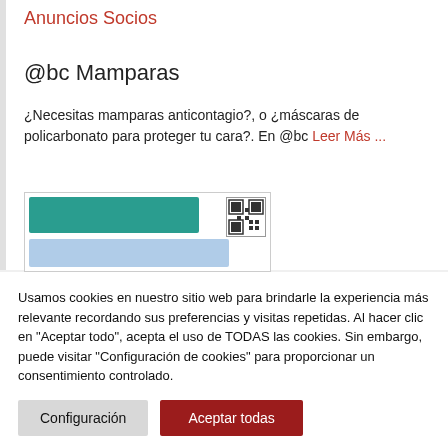Anuncios Socios
@bc Mamparas
¿Necesitas mamparas anticontagio?, o ¿máscaras de policarbonato para proteger tu cara?. En @bc Leer Más ...
[Figure (screenshot): Screenshot of a webpage card showing a teal/green header bar and a QR code in the top right, with a light blue content area below.]
Usamos cookies en nuestro sitio web para brindarle la experiencia más relevante recordando sus preferencias y visitas repetidas. Al hacer clic en "Aceptar todo", acepta el uso de TODAS las cookies. Sin embargo, puede visitar "Configuración de cookies" para proporcionar un consentimiento controlado.
Configuración
Aceptar todas